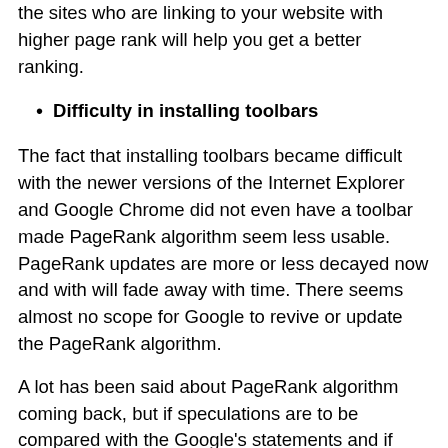the sites who are linking to your website with higher page rank will help you get a better ranking.
Difficulty in installing toolbars
The fact that installing toolbars became difficult with the newer versions of the Internet Explorer and Google Chrome did not even have a toolbar made PageRank algorithm seem less usable. PageRank updates are more or less decayed now and with will fade away with time. There seems almost no scope for Google to revive or update the PageRank algorithm.
A lot has been said about PageRank algorithm coming back, but if speculations are to be compared with the Google's statements and if logic and reason be drawn from them, then it is highly unlikely to happen. While nothing has been confirmed but looking at how PageRank got updated only once in the current year, it is time we say